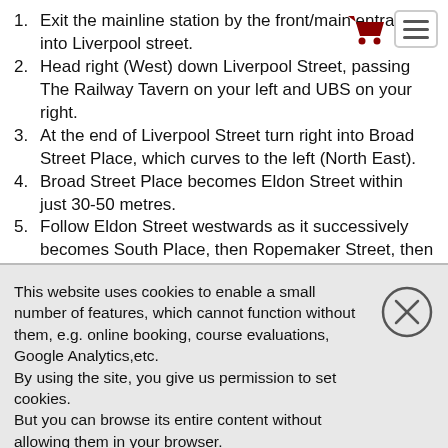1. Exit the mainline station by the front/main entrance into Liverpool street.
2. Head right (West) down Liverpool Street, passing The Railway Tavern on your left and UBS on your right.
3. At the end of Liverpool Street turn right into Broad Street Place, which curves to the left (North East).
4. Broad Street Place becomes Eldon Street within just 30-50 metres.
5. Follow Eldon Street westwards as it successively becomes South Place, then Ropemaker Street, then Milton Court.
6. At the west end of Milton Court, turn right into Milton Street.
This website uses cookies to enable a small number of features, which cannot function without them, e.g. online booking, course evaluations, Google Analytics,etc.
By using the site, you give us permission to set cookies.
But you can browse its entire content without allowing them in your browser.